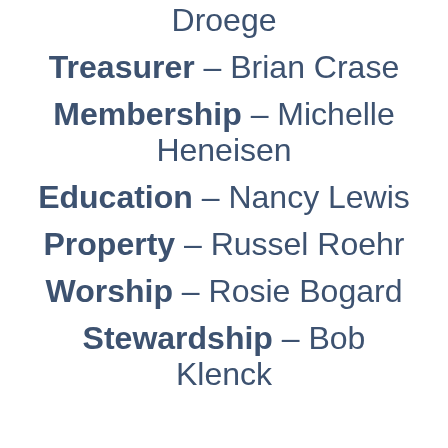Droege
Treasurer - Brian Crase
Membership - Michelle Heneisen
Education - Nancy Lewis
Property - Russel Roehr
Worship - Rosie Bogard
Stewardship - Bob Klenck